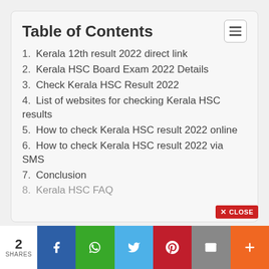Table of Contents
1. Kerala 12th result 2022 direct link
2. Kerala HSC Board Exam 2022 Details
3. Check Kerala HSC Result 2022
4. List of websites for checking Kerala HSC results
5. How to check Kerala HSC result 2022 online
6. How to check Kerala HSC result 2022 via SMS
7. Conclusion
8. Kerala HSC FAQ
2 SHARES